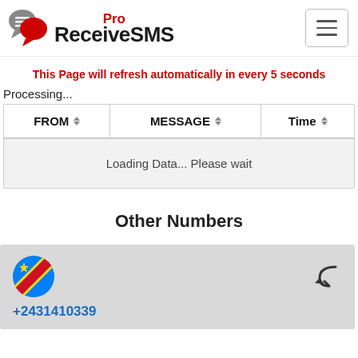[Figure (logo): ReceiveSMS Pro logo with chat bubble icons and hamburger menu button]
This Page will refresh automatically in every 5 seconds
Processing...
| FROM | MESSAGE | Time |
| --- | --- | --- |
| Loading Data... Please wait |  |  |
Other Numbers
[Figure (infographic): DRC flag circle icon with phone number +2431410339 and return arrow]